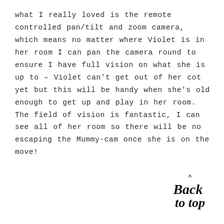what I really loved is the remote controlled pan/tilt and zoom camera, which means no matter where Violet is in her room I can pan the camera round to ensure I have full vision on what she is up to – Violet can't get out of her cot yet but this will be handy when she's old enough to get up and play in her room. The field of vision is fantastic, I can see all of her room so there will be no escaping the Mummy-cam once she is on the move!
[Figure (illustration): Handwritten script text reading 'Back to top' with a small caret/arrow above it]